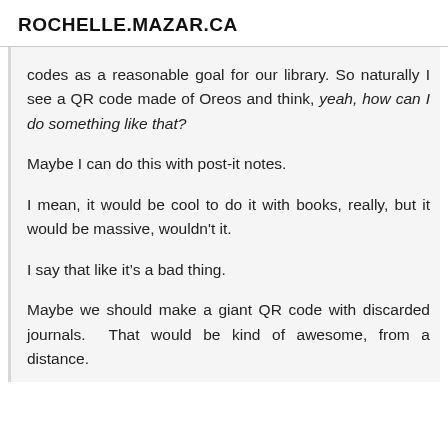ROCHELLE.MAZAR.CA
codes as a reasonable goal for our library. So naturally I see a QR code made of Oreos and think, yeah, how can I do something like that?
Maybe I can do this with post-it notes.
I mean, it would be cool to do it with books, really, but it would be massive, wouldn't it.
I say that like it’s a bad thing.
Maybe we should make a giant QR code with discarded journals. That would be kind of awesome, from a distance.